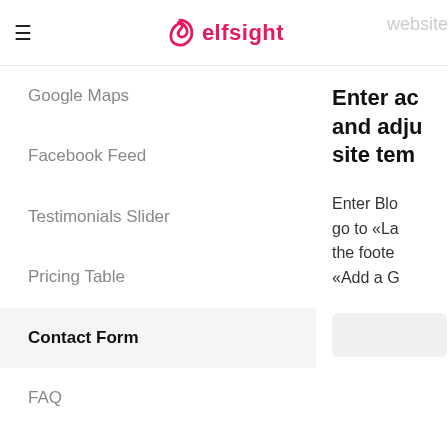elfsight
Google Maps
Facebook Feed
Testimonials Slider
Pricing Table
Contact Form
FAQ
Form Builder
Twitter Feed
Countdown Timer
Enter account and adjust site template Enter Blo go to «La the foote «Add a G